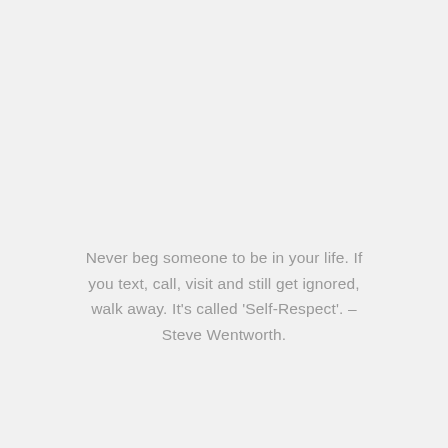Never beg someone to be in your life. If you text, call, visit and still get ignored, walk away. It's called 'Self-Respect'. – Steve Wentworth.